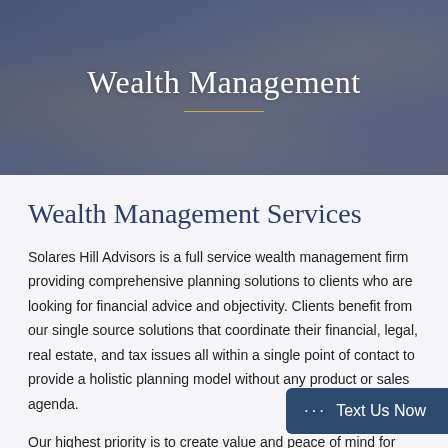[Figure (photo): Hero banner photo showing people working on financial documents, with a piggy bank visible. Dark overlay with 'Wealth Management' title and a gold horizontal divider line centered below the text.]
Wealth Management
Wealth Management Services
Solares Hill Advisors is a full service wealth management firm providing comprehensive planning solutions to clients who are looking for financial advice and objectivity. Clients benefit from our single source solutions that coordinate their financial, legal, real estate, and tax issues all within a single point of contact to provide a holistic planning model without any product or sales agenda.
Our highest priority is to create value and peace of mind for